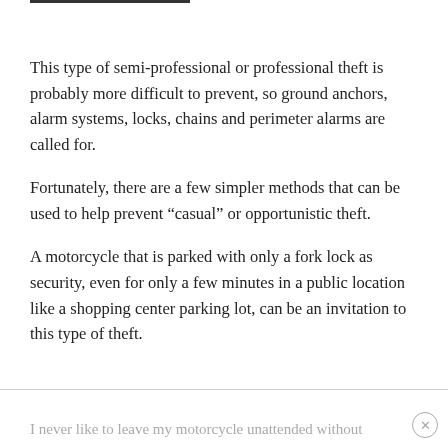This type of semi-professional or professional theft is probably more difficult to prevent, so ground anchors, alarm systems, locks, chains and perimeter alarms are called for.
Fortunately, there are a few simpler methods that can be used to help prevent “casual” or opportunistic theft.
A motorcycle that is parked with only a fork lock as security, even for only a few minutes in a public location like a shopping center parking lot, can be an invitation to this type of theft.
I never like to leave my motorcycle unattended without